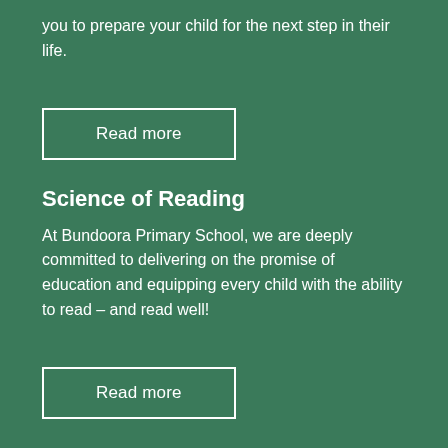you to prepare your child for the next step in their life.
Read more
Science of Reading
At Bundoora Primary School, we are deeply committed to delivering on the promise of education and equipping every child with the ability to read – and read well!
Read more